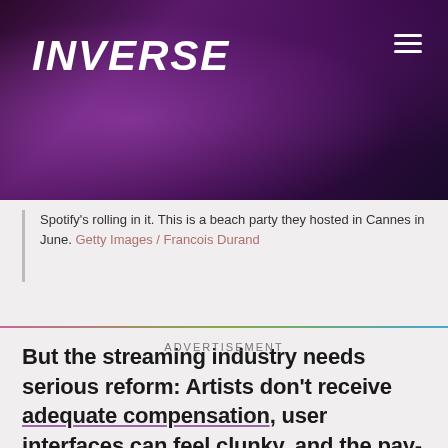[Figure (photo): Dark purple night scene hero image with Inverse logo and hamburger menu icon]
Spotify's rolling in it. This is a beach party they hosted in Cannes in June. Getty Images / Francois Durand
But the streaming industry needs serious reform: Artists don't receive adequate compensation, user interfaces can feel clunky, and the pay-per-stream business model rewards pop artists for inserting filler tracks.
ADVERTISEMENT